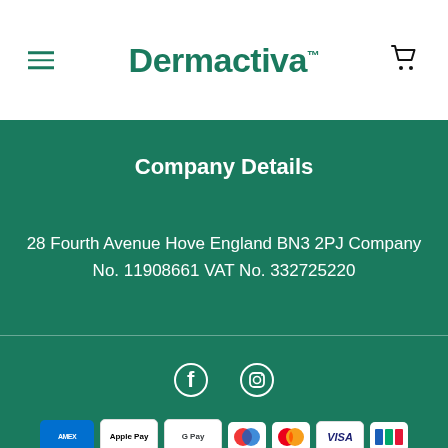Dermactiva™
Company Details
28 Fourth Avenue Hove England BN3 2PJ Company No. 11908661 VAT No. 332725220
[Figure (infographic): Social media icons: Facebook and Instagram]
[Figure (infographic): Payment method icons: American Express, Apple Pay, Google Pay, Maestro, Mastercard, Visa, Barclaycard]